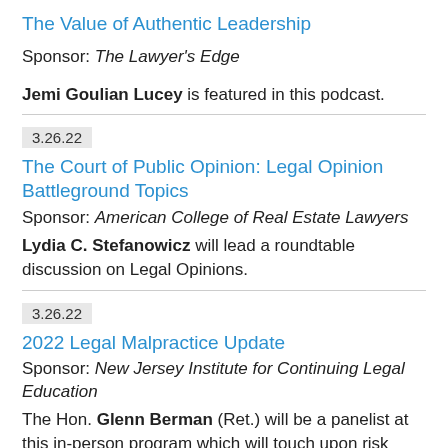The Value of Authentic Leadership
Sponsor: The Lawyer's Edge
Jemi Goulian Lucey is featured in this podcast.
3.26.22
The Court of Public Opinion: Legal Opinion Battleground Topics
Sponsor: American College of Real Estate Lawyers
Lydia C. Stefanowicz will lead a roundtable discussion on Legal Opinions.
3.26.22
2022 Legal Malpractice Update
Sponsor: New Jersey Institute for Continuing Legal Education
The Hon. Glenn Berman (Ret.) will be a panelist at this in-person program which will touch upon risk